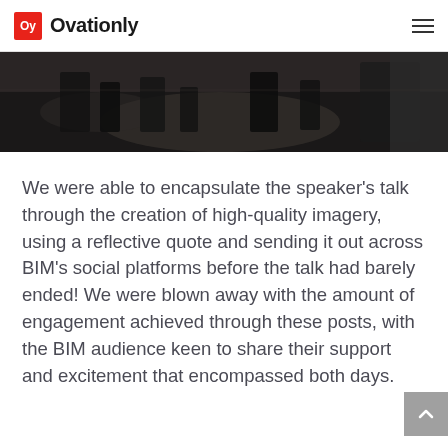Oy Ovationly
[Figure (photo): Dark photograph of a crowd/audience scene at an event, taken from above or at an angle, showing people and equipment in dim lighting.]
We were able to encapsulate the speaker’s talk through the creation of high-quality imagery, using a reflective quote and sending it out across BIM’s social platforms before the talk had barely ended! We were blown away with the amount of engagement achieved through these posts, with the BIM audience keen to share their support and excitement that encompassed both days.